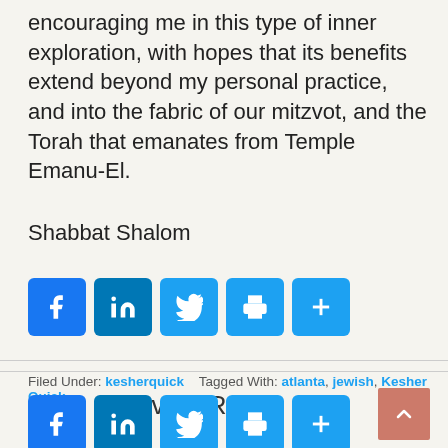encouraging me in this type of inner exploration, with hopes that its benefits extend beyond my personal practice, and into the fabric of our mitzvot, and the Torah that emanates from Temple Emanu-El.
Shabbat Shalom
[Figure (infographic): Social share buttons: Facebook, LinkedIn, Twitter, Print, More]
Filed Under: kesherquick  Tagged With: atlanta, jewish, Kesher Quick
Leave a Reply
[Figure (infographic): Social share buttons repeated at bottom: Facebook, LinkedIn, Twitter, Print, More]
[Figure (other): Back to top button with up arrow]